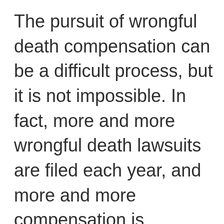The pursuit of wrongful death compensation can be a difficult process, but it is not impossible. In fact, more and more wrongful death lawsuits are filed each year, and more and more compensation is awarded to victims' families. Our New Jersey wrongful death lawyers are here to help you take the necessary steps to help those whose lives were lost because of negligence.